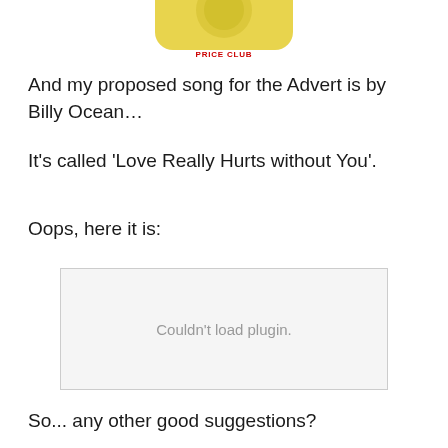[Figure (photo): Partial image of a yellow container/product with a 'PRICE CLUB' label visible at the bottom, cropped at the top of the page]
And my proposed song for the Advert is by Billy Ocean…
It's called 'Love Really Hurts without You'.
Oops, here it is:
[Figure (other): Embedded media plugin area showing 'Couldn't load plugin.' error message]
So... any other good suggestions?